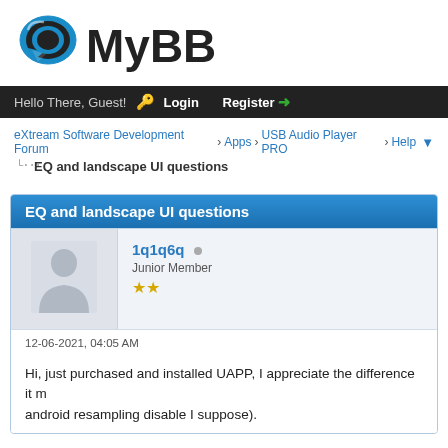[Figure (logo): MyBB forum software logo with blue speech bubble icon and bold 'MyBB' text]
Hello There, Guest! Login Register
eXtream Software Development Forum › Apps › USB Audio Player PRO › Help ▼
EQ and landscape UI questions
EQ and landscape UI questions
[Figure (photo): Default user avatar silhouette (grey person icon)]
1q1q6q ● Junior Member ★★
12-06-2021, 04:05 AM
Hi, just purchased and installed UAPP, I appreciate the difference it m android resampling disable I suppose).